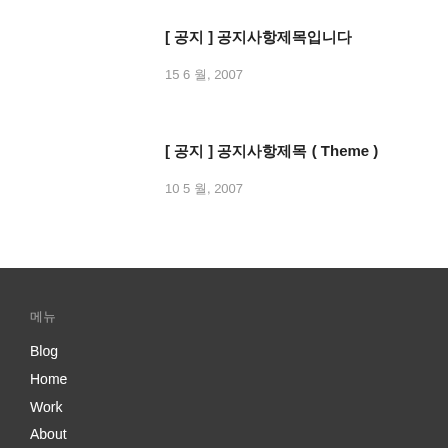[ 공지 ] 공지사항제목입니다
15 6 월, 2007
[ 공지 ] 공지사항제목 ( Theme )
10 5 월, 2007
메뉴
Blog
Home
Work
About